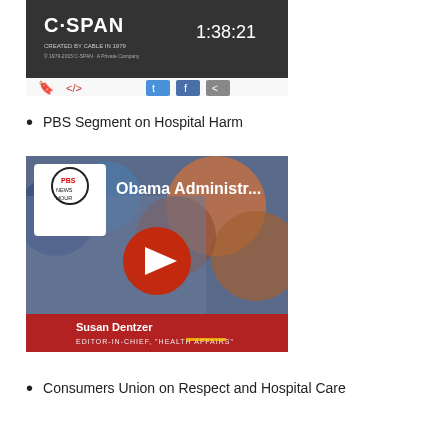[Figure (screenshot): C-SPAN video player screenshot showing timestamp 1:38:21 with bookmark, embed, Twitter, Facebook, and share icons below]
PBS Segment on Hospital Harm
[Figure (screenshot): PBS NewsHour YouTube video thumbnail showing Susan Dentzer, Editor-in-Chief of Health Affairs, with title 'Obama Administr...' and a red play button]
Consumers Union on Respect and Hospital Care